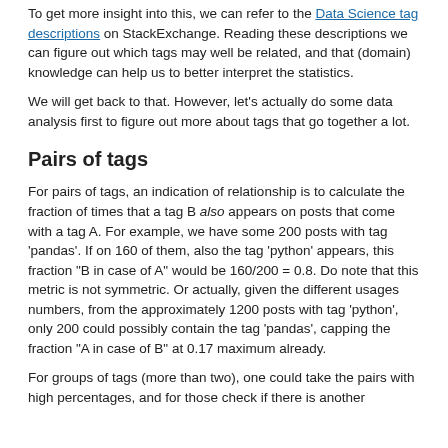To get more insight into this, we can refer to the Data Science tag descriptions on StackExchange. Reading these descriptions we can figure out which tags may well be related, and that (domain) knowledge can help us to better interpret the statistics.
We will get back to that. However, let's actually do some data analysis first to figure out more about tags that go together a lot.
Pairs of tags
For pairs of tags, an indication of relationship is to calculate the fraction of times that a tag B also appears on posts that come with a tag A. For example, we have some 200 posts with tag 'pandas'. If on 160 of them, also the tag 'python' appears, this fraction "B in case of A" would be 160/200 = 0.8. Do note that this metric is not symmetric. Or actually, given the different usages numbers, from the approximately 1200 posts with tag 'python', only 200 could possibly contain the tag 'pandas', capping the fraction "A in case of B" at 0.17 maximum already.
For groups of tags (more than two), one could take the pairs with high percentages, and for those check if there is another